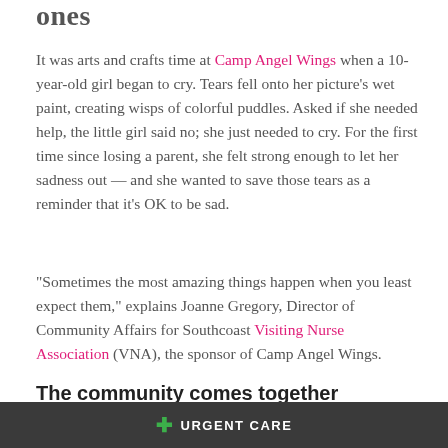It was arts and crafts time at Camp Angel Wings when a 10-year-old girl began to cry. Tears fell onto her picture's wet paint, creating wisps of colorful puddles. Asked if she needed help, the little girl said no; she just needed to cry. For the first time since losing a parent, she felt strong enough to let her sadness out — and she wanted to save those tears as a reminder that it's OK to be sad.
“Sometimes the most amazing things happen when you least expect them,” explains Joanne Gregory, Director of Community Affairs for Southcoast Visiting Nurse Association (VNA), the sponsor of Camp Angel Wings.
The community comes together
+ URGENT CARE